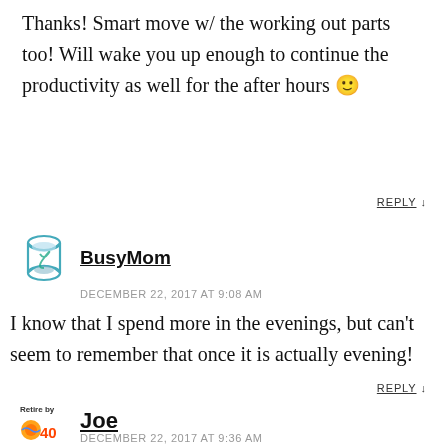Thanks! Smart move w/ the working out parts too! Will wake you up enough to continue the productivity as well for the after hours 🙂
REPLY ↓
BusyMom
DECEMBER 22, 2017 AT 9:08 AM
I know that I spend more in the evenings, but can't seem to remember that once it is actually evening!
REPLY ↓
Joe
DECEMBER 22, 2017 AT 9:36 AM
I've never heard of this. Not really our behavior